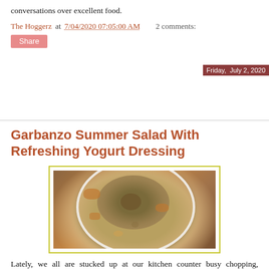conversations over excellent food.
The Hoggerz at 7/04/2020 07:05:00 AM    2 comments:
Share
Friday, July 2, 2020
Garbanzo Summer Salad With Refreshing Yogurt Dressing
[Figure (photo): A plate of garbanzo summer salad with yogurt dressing on a wooden surface, viewed from above. The salad contains chickpeas, orange/crispy chip pieces, and is covered in a green yogurt-based dressing.]
Lately, we all are stucked up at our kitchen counter busy chopping, drizzling, tasting, mix-matching, and again tasting. During this process of cooking, I have realized that I need to